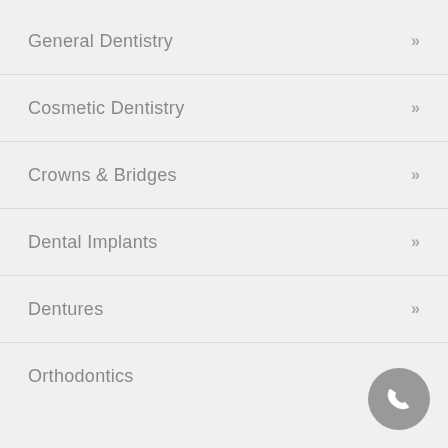General Dentistry
Cosmetic Dentistry
Crowns & Bridges
Dental Implants
Dentures
Orthodontics
[Figure (illustration): Gray circular phone call button with white telephone handset icon, positioned in bottom-right corner]